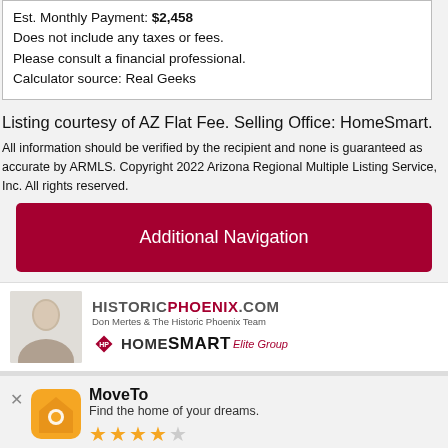Est. Monthly Payment: $2,458
Does not include any taxes or fees.
Please consult a financial professional.
Calculator source: Real Geeks
Listing courtesy of AZ Flat Fee. Selling Office: HomeSmart.
All information should be verified by the recipient and none is guaranteed as accurate by ARMLS. Copyright 2022 Arizona Regional Multiple Listing Service, Inc. All rights reserved.
Additional Navigation
[Figure (logo): HISTORICPHOENIX.COM logo with photo of Don Mertes and HomeSmart Elite Group branding]
MoveTo
Find the home of your dreams.
Use App